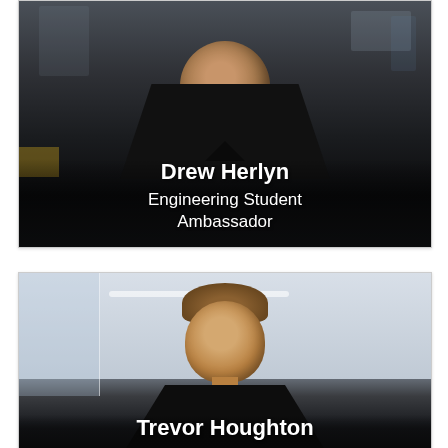[Figure (photo): Photo of Drew Herlyn wearing a black polo shirt with a university logo, smiling in an engineering lab setting. Text overlay reads 'Drew Herlyn / Engineering Student Ambassador'.]
[Figure (photo): Photo of Trevor Houghton wearing a black shirt, smiling in a bright indoor setting. Text overlay reads 'Trevor Houghton'.]